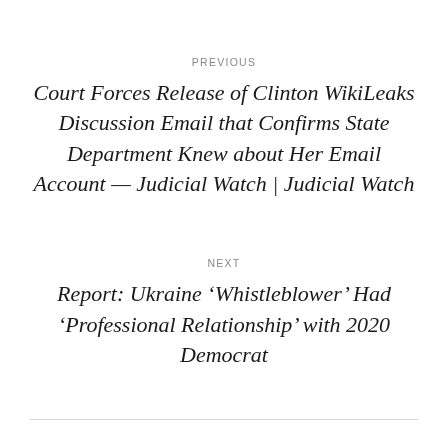PREVIOUS
Court Forces Release of Clinton WikiLeaks Discussion Email that Confirms State Department Knew about Her Email Account — Judicial Watch | Judicial Watch
NEXT
Report: Ukraine ‘Whistleblower’ Had ‘Professional Relationship’ with 2020 Democrat